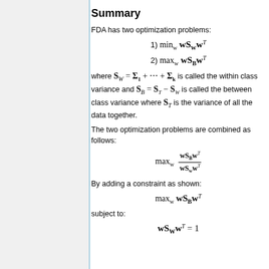Summary
FDA has two optimization problems:
where S_W = Σ_1 + ⋯ + Σ_k is called the within class variance and S_B = S_T − S_W is called the between class variance where S_T is the variance of all the data together.
The two optimization problems are combined as follows:
By adding a constraint as shown:
subject to: